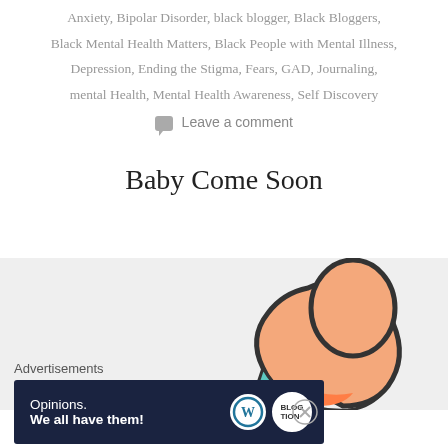Anxiety, Bipolar Disorder, black blogger, Black Bloggers, Black Mental Health Matters, Black People with Mental Illness, Depression, Ending the Stigma, Fears, GAD, Journaling, mental Health, Mental Health Awareness, Self Discovery
Leave a comment
Baby Come Soon
[Figure (illustration): Illustrated baby figure on light gray background, showing a cartoon style infant in peach/salmon, teal and orange colors with dark outline.]
Advertisements
[Figure (other): WordPress ad banner: 'Opinions. We all have them!' with WordPress logo and another circular logo on dark navy background.]